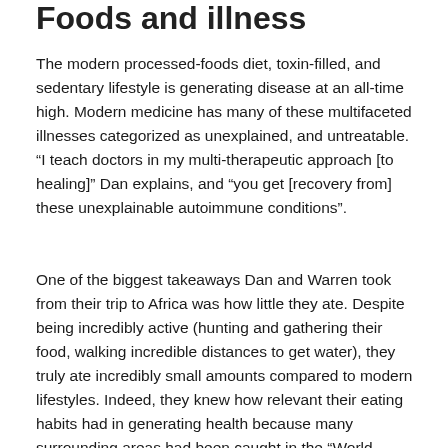Foods and illness
The modern processed-foods diet, toxin-filled, and sedentary lifestyle is generating disease at an all-time high. Modern medicine has many of these multifaceted illnesses categorized as unexplained, and untreatable. "I teach doctors in my multi-therapeutic approach [to healing]" Dan explains, and "you get [recovery from] these unexplainable autoimmune conditions".
One of the biggest takeaways Dan and Warren took from their trip to Africa was how little they ate. Despite being incredibly active (hunting and gathering their food, walking incredible distances to get water), they truly ate incredibly small amounts compared to modern lifestyles. Indeed, they knew how relevant their eating habits had in generating health because many surrounding areas had been caught in the "World Vision trap." Despite